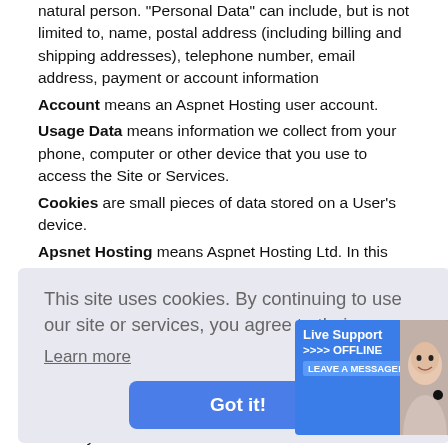natural person. "Personal Data" can include, but is not limited to, name, postal address (including billing and shipping addresses), telephone number, email address, payment or account information
Account means an Aspnet Hosting user account.
Usage Data means information we collect from your phone, computer or other device that you use to access the Site or Services.
Cookies are small pieces of data stored on a User's device.
Apsnet Hosting means Aspnet Hosting Ltd. In this Privacy Policy, Aspnet Hosting is sometimes referred to as “we,” “us,” or “our,” depending on the context.
[Figure (screenshot): Cookie consent overlay with text 'This site uses cookies. By continuing to use our site or services, you agree to their use.' and a 'Learn more' link and 'Got it!' button. A 'Live Support OFFLINE LEAVE A MESSAGE!' banner is overlapping in the bottom right.]
processes the data on behalf of the Data Controller. We may